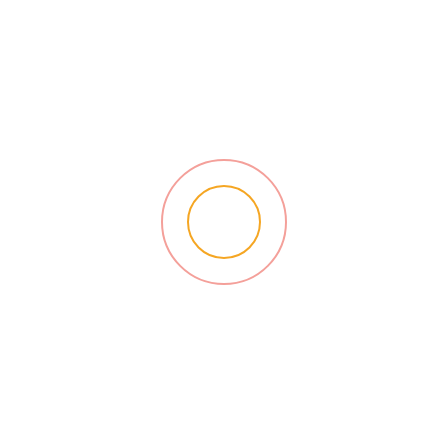[Figure (other): Two concentric circles centered on the page. Outer circle is a light pink/salmon color with a thin stroke. Inner circle is orange with a thin stroke. Both circles are outline only with white fill.]